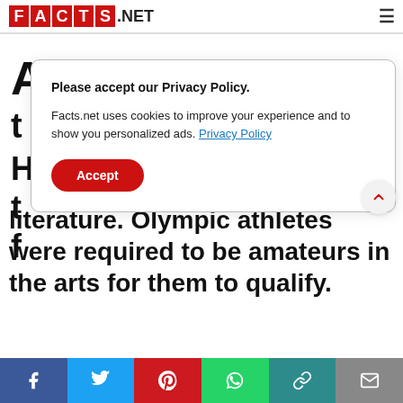FACTS.NET
Please accept our Privacy Policy.

Facts.net uses cookies to improve your experience and to show you personalized ads. Privacy Policy

Accept
literature. Olympic athletes were required to be amateurs in the arts for them to qualify.
Social share bar: Facebook, Twitter, Pinterest, WhatsApp, Link, Mail